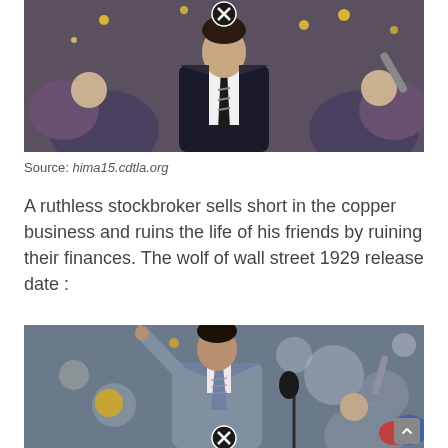[Figure (photo): Man in dark pinstripe suit and striped tie in a crowd with confetti, close button overlay at top center]
Source: hima15.cdtla.org
A ruthless stockbroker sells short in the copper business and ruins the life of his friends by ruining their finances. The wolf of wall street 1929 release date :
[Figure (photo): Man in grey suit pointing upward with one finger near a microphone, crowd in background, close button overlay at bottom center]